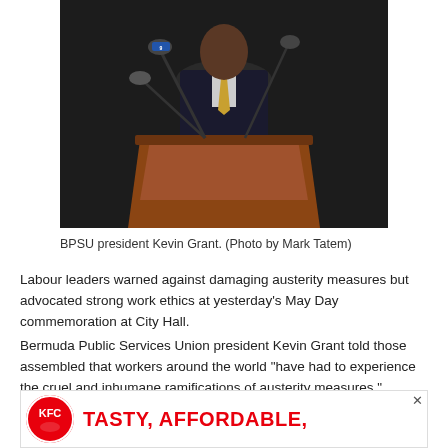[Figure (photo): A man in a dark suit and gold tie standing at a wooden podium with multiple microphones, speaking at an event. The background is dark.]
BPSU president Kevin Grant. (Photo by Mark Tatem)
Labour leaders warned against damaging austerity measures but advocated strong work ethics at yesterday’s May Day commemoration at City Hall.
Bermuda Public Services Union president Kevin Grant told those assembled that workers around the world “have had to experience the cruel and inhumane ramifications of austerity measures.”
He said Governments had come to realise that austerity measures had a detrimental impact on revenues and the quality of public services.
[Figure (photo): KFC advertisement banner reading TASTY, AFFORDABLE, with KFC logo on the left and a food image on the right.]